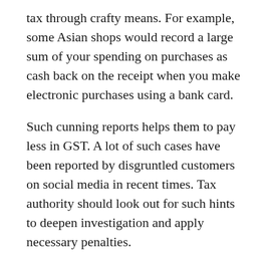tax through crafty means. For example, some Asian shops would record a large sum of your spending on purchases as cash back on the receipt when you make electronic purchases using a bank card.
Such cunning reports helps them to pay less in GST. A lot of such cases have been reported by disgruntled customers on social media in recent times. Tax authority should look out for such hints to deepen investigation and apply necessary penalties.
Besides, internal surveillance measures have to be tighten to ensure that tax collectors don’t compromise with busines to evade or underpay taxes: bribery must be annihilated to enforce the full force of compliance.
Read more news and stories here. Watch online news and